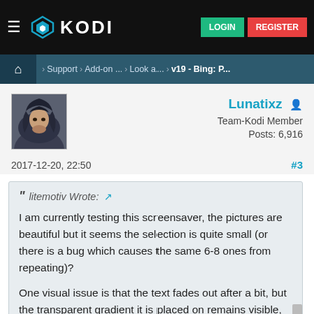KODI — LOGIN | REGISTER
Home > Support > Add-on ... > Look a... > v19 - Bing: P...
[Figure (screenshot): Avatar of forum user Lunatixz — anime-style character with dark hooded cloak]
Lunatixz
Team-Kodi Member
Posts: 6,916
2017-12-20, 22:50
#3
litemotiv Wrote:
I am currently testing this screensaver, the pictures are beautiful but it seems the selection is quite small (or there is a bug which causes the same 6-8 ones from repeating)?
One visual issue is that the text fades out after a bit, but the transparent gradient it is placed on remains visible, this becomes clear towards the bottom of...